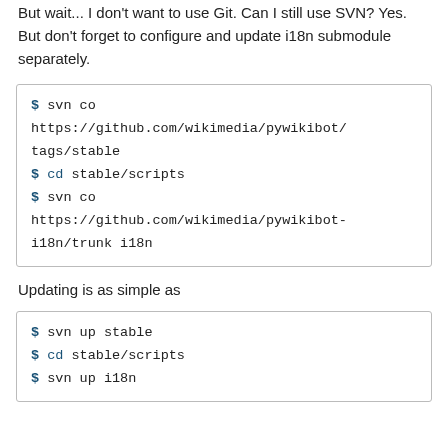But wait... I don't want to use Git. Can I still use SVN? Yes. But don't forget to configure and update i18n submodule separately.
$ svn co https://github.com/wikimedia/pywikibot/tags/stable
$ cd stable/scripts
$ svn co https://github.com/wikimedia/pywikibot-i18n/trunk i18n
Updating is as simple as
$ svn up stable
$ cd stable/scripts
$ svn up i18n